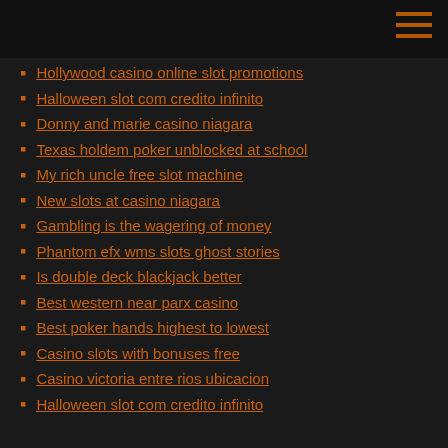Hollywood casino online slot promotions
Halloween slot com credito infinito
Donny and marie casino niagara
Texas holdem poker unblocked at school
My rich uncle free slot machine
New slots at casino niagara
Gambling is the wagering of money
Phantom efx wms slots ghost stories
Is double deck blackjack better
Best western near parx casino
Best poker hands highest to lowest
Casino slots with bonuses free
Casino victoria entre rios ubicacion
Halloween slot com credito infinito